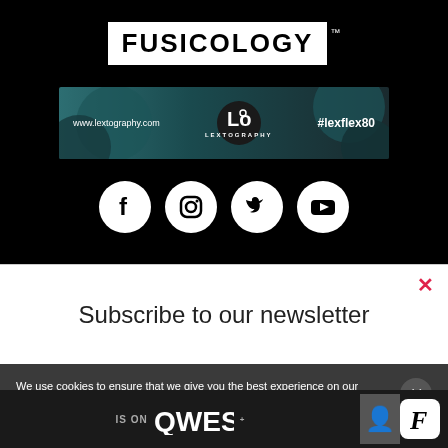[Figure (logo): Fusicology logo - white text on black background with TM mark]
[Figure (photo): Lextography advertisement banner - teal/dark background with www.lextography.com, Lextography logo, and #lexflex80]
[Figure (infographic): Social media icons row: Facebook, Instagram, Twitter, YouTube - white circles on black background]
Subscribe to our newsletter
We use cookies to ensure that we give you the best experience on our website. If you continue to use this site we will assume that you
[Figure (photo): Bottom banner: IS ON QWEST with person photo and F badge logo]